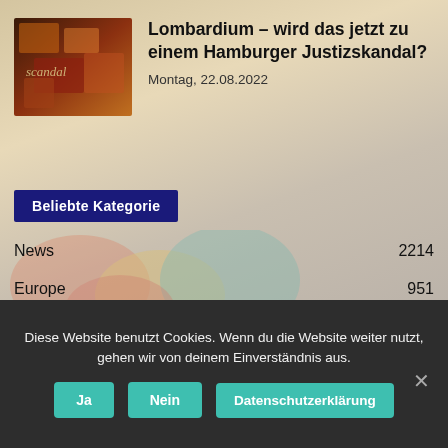[Figure (photo): Thumbnail image with dark red/brown abstract pattern and text 'scandal' overlaid]
Lombardium – wird das jetzt zu einem Hamburger Justizskandal?
Montag, 22.08.2022
Beliebte Kategorie
News 2214
Europe 951
United States 739
Asia 737
America 397
Diese Website benutzt Cookies. Wenn du die Website weiter nutzt, gehen wir von deinem Einverständnis aus.